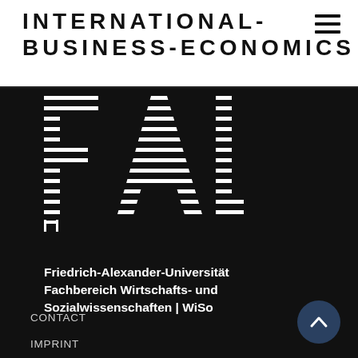INTERNATIONAL-BUSINESS-ECONOMICS
[Figure (logo): FAU logo — stylized letters F, A, U in white on black background with horizontal line fill pattern]
Friedrich-Alexander-Universität
Fachbereich Wirtschafts- und
Sozialwissenschaften | WiSo
CONTACT
IMPRINT
PRIVACY
ACCESSIBILITY